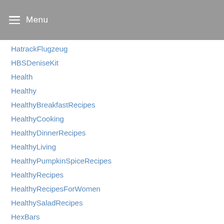Menu
HatrackFlugzeug
HBSDeniseKit
Health
Healthy
HealthyBreakfastRecipes
HealthyCooking
HealthyDinnerRecipes
HealthyLiving
HealthyPumpkinSpiceRecipes
HealthyRecipes
HealthyRecipesForWomen
HealthySaladRecipes
HexBars
HighClubHerfordMuttizettel
HighProtein
HighSchoolMusical1GanzerFilmDeutsch